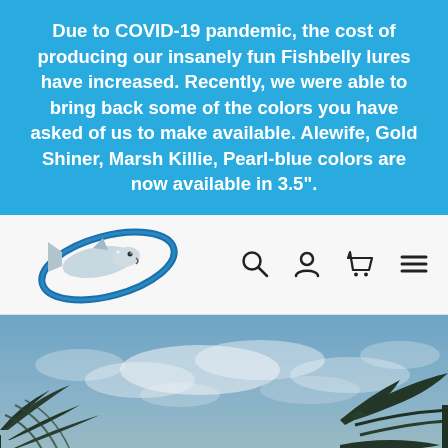Due to COVID-19 pandemic, the cost of producing our insanely fun Fishbelly lures have increased. Recently, we were able to bring back some of the colors you have asked of us to make available. Alewife, Gold Shiner, Marsh Killie, Pearl-blue colors are now available in 3.5".
[Figure (logo): Fishbelly fishing lure brand logo: stylized jumping fish with blue oval ring around it]
[Figure (photo): Outdoor nature scene with sky, clouds, and silhouetted trees in foreground. Hero banner image for fishing website.]
Going fishing?